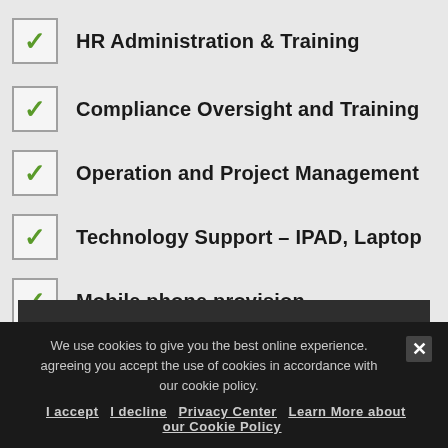HR Administration & Training
Compliance Oversight and Training
Operation and Project Management
Technology Support – IPAD, Laptop
Mobile phone provision
Detailed Monthly Reporting
Privacy Settings
We use cookies to give you the best online experience. agreeing you accept the use of cookies in accordance with our cookie policy.
I accept   I decline   Privacy Center   Learn More about our Cookie Policy